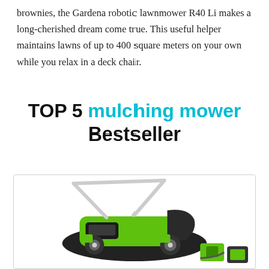brownies, the Gardena robotic lawnmower R40 Li makes a long-cherished dream come true. This useful helper maintains lawns of up to 400 square meters on your own while you relax in a deck chair.
TOP 5 mulching mower Bestseller
[Figure (photo): A green Greenworks cordless mulching lawn mower with a grass collection bag, silver handle, four wheels, and a battery charger accessory shown in the lower right corner.]